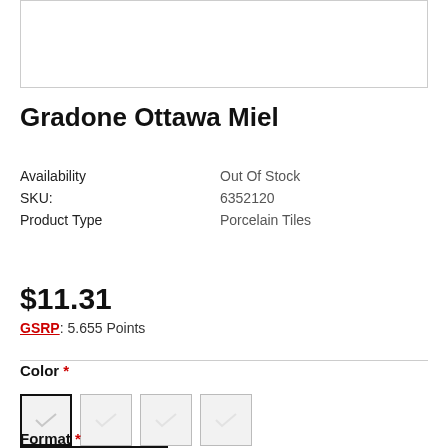[Figure (photo): Product image placeholder (white box with border)]
Gradone Ottawa Miel
Availability: Out Of Stock
SKU: 6352120
Product Type: Porcelain Tiles
$11.31
GSRP: 5.655 Points
Color *
[Figure (illustration): Four color swatch squares, first one selected with thick border]
Format *
[Figure (illustration): Format dropdown selector box]